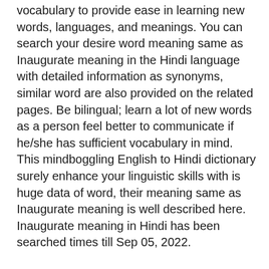vocabulary to provide ease in learning new words, languages, and meanings. You can search your desire word meaning same as Inaugurate meaning in the Hindi language with detailed information as synonyms, similar word are also provided on the related pages. Be bilingual; learn a lot of new words as a person feel better to communicate if he/she has sufficient vocabulary in mind. This mindboggling English to Hindi dictionary surely enhance your linguistic skills with is huge data of word, their meaning same as Inaugurate meaning is well described here. Inaugurate meaning in Hindi has been searched times till Sep 05, 2022.